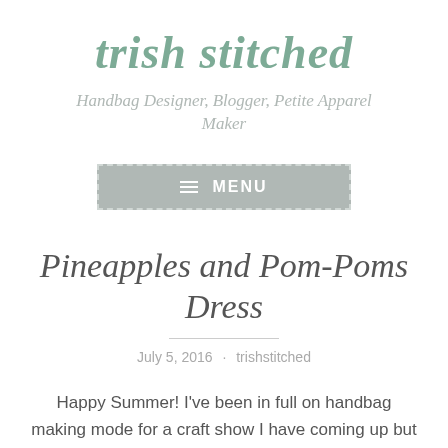trish stitched
Handbag Designer, Blogger, Petite Apparel Maker
[Figure (other): A navigation menu button with hamburger icon and the text MENU on a grey background with dashed border]
Pineapples and Pom-Poms Dress
July 5, 2016 · trishstitched
Happy Summer! I've been in full on handbag making mode for a craft show I have coming up but managed to